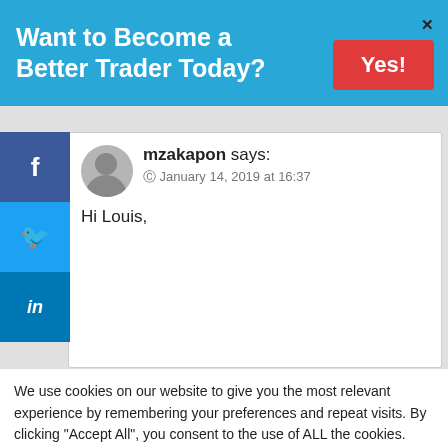Want to Become a Better Trader Today?
mzakapon says:
January 14, 2019 at 16:37
Hi Louis,
We use cookies on our website to give you the most relevant experience by remembering your preferences and repeat visits. By clicking "Accept All", you consent to the use of ALL the cookies. However, you may visit "Cookie Settings" to provide a controlled consent.